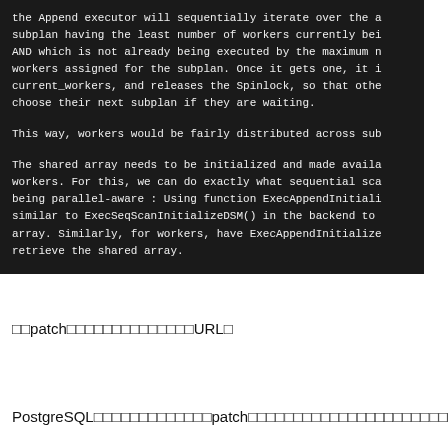the Append executor will sequentially iterate over the a subplan having the least number of workers currently bei AND which is not already being executed by the maximum n workers assigned for the subplan. Once it gets one, it i current_workers, and releases the Spinlock, so that othe choose their next subplan if they are waiting.

This way, workers would be fairly distributed across sub

The shared array needs to be initialized and made availa workers. For this, we can do exactly what sequential sca being parallel-aware : Using function ExecAppendInitiali similar to ExecSeqScanInitializeDSM() in the backend to array. Similarly, for workers, have ExecAppendInitialize retrieve the shared array.
□□patch□□□□□□□□□□□□□□URL□
PostgreSQL□□□□□□□□□□□□□patch□□□□□□□□□□□□□□□□□□□□□□□□□□□□□□patch□□□master□□□□□□□□PostgreSQL□□□□□□□□□□□□